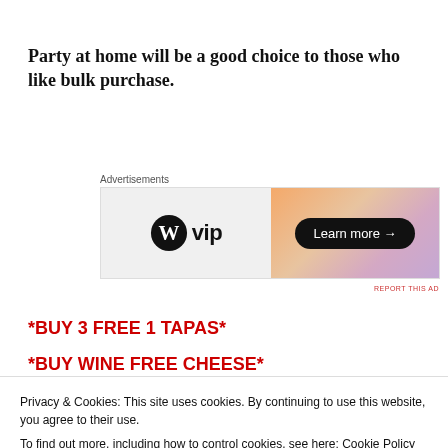Party at home will be a good choice to those who like bulk purchase.
[Figure (other): Advertisement banner for WordPress VIP with logo on left and gradient background on right with 'Learn more →' button]
*BUY 3 FREE 1 TAPAS*
*BUY WINE FREE CHEESE*
Privacy & Cookies: This site uses cookies. By continuing to use this website, you agree to their use.
To find out more, including how to control cookies, see here: Cookie Policy
Close and accept